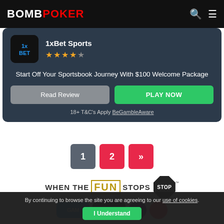BOMB POKER
[Figure (logo): 1xBet Sports logo with 3.5 star rating]
Start Off Your Sportsbook Journey With $100 Welcome Package
Read Review | PLAY NOW
18+ T&C's Apply BeGambleAware
1
2
»
[Figure (logo): WHEN THE FUN STOPS STOP responsible gambling banner]
[Figure (logo): GamStop and other responsible gambling logos]
By continuing to browse the site you are agreeing to our use of cookies.
I Understand